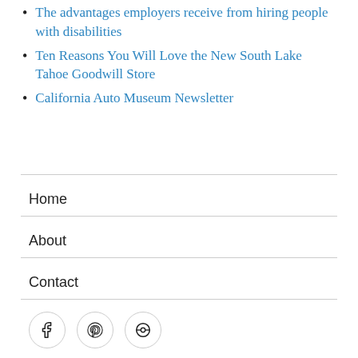The advantages employers receive from hiring people with disabilities
Ten Reasons You Will Love the New South Lake Tahoe Goodwill Store
California Auto Museum Newsletter
Home
About
Contact